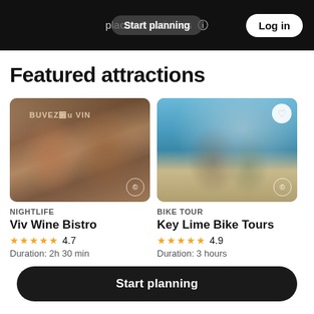Start planning | places & activities | Log in
Featured attractions
[Figure (photo): Photo of two women at Viv Wine Bistro restaurant, with BUVEZ du VIN signage in background]
NIGHTLIFE
Viv Wine Bistro
★★★★★ 4.7
Duration: 2h 30 min
[Figure (photo): Photo of two women on bikes with a large cruise ship in the background, Key Lime Bike Tours]
BIKE TOUR
Key Lime Bike Tours
★★★★★ 4.9
Duration: 3 hours
[Figure (photo): Partial photo of a third attraction card, partially visible at right edge]
Start planning